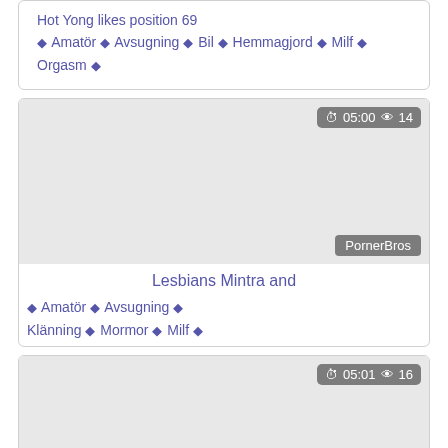Hot Yong likes position 69 ♦ Amatör ♦ Avsugning ♦ Bil ♦ Hemmagjord ♦ Milf ♦ Orgasm ♦
[Figure (screenshot): Video thumbnail placeholder, gray, showing 05:00 duration and 14 views, source PornerBros]
Lesbians Mintra and ♦ Amatör ♦ Avsugning ♦ Klänning ♦ Mormor ♦ Milf ♦
[Figure (screenshot): Video thumbnail placeholder, gray, showing 05:01 duration and 16 views, source PornerBros]
Hot May fucks a very horny